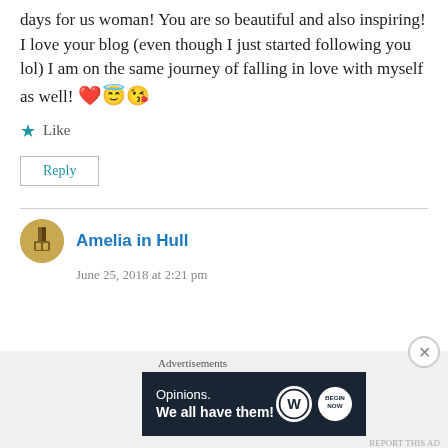days for us woman! You are so beautiful and also inspiring! I love your blog (even though I just started following you lol) I am on the same journey of falling in love with myself as well! ❤️😇😘
Like
Reply
Amelia in Hull
June 25, 2018 at 2:21 pm
[Figure (infographic): WordPress advertisement banner: 'Opinions. We all have them!' with WordPress logo and Begin Now button logo]
Advertisements